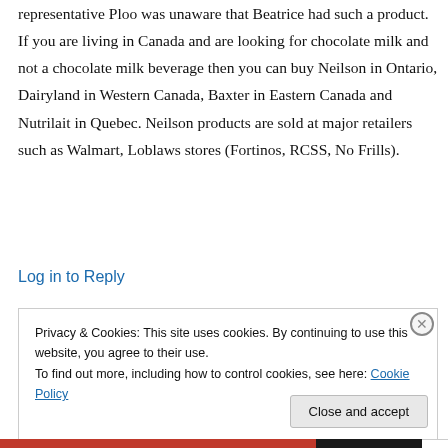representative Ploo was unaware that Beatrice had such a product. If you are living in Canada and are looking for chocolate milk and not a chocolate milk beverage then you can buy Neilson in Ontario, Dairyland in Western Canada, Baxter in Eastern Canada and Nutrilait in Quebec. Neilson products are sold at major retailers such as Walmart, Loblaws stores (Fortinos, RCSS, No Frills).
Log in to Reply
Privacy & Cookies: This site uses cookies. By continuing to use this website, you agree to their use.
To find out more, including how to control cookies, see here: Cookie Policy
Close and accept